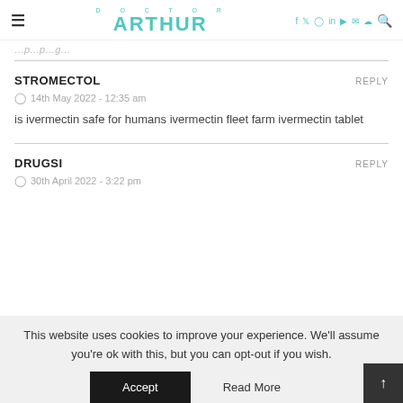DOCTOR ARTHUR
…partial text cut off at top…
STROMECTOL
14th May 2022 - 12:35 am
is ivermectin safe for humans ivermectin fleet farm ivermectin tablet
DRUGSI
30th April 2022 - 3:22 pm
This website uses cookies to improve your experience. We'll assume you're ok with this, but you can opt-out if you wish.